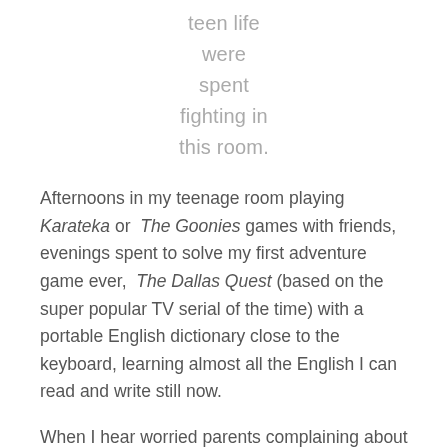teen life
were
spent
fighting in
this room.
Afternoons in my teenage room playing Karateka or The Goonies games with friends, evenings spent to solve my first adventure game ever, The Dallas Quest (based on the super popular TV serial of the time) with a portable English dictionary close to the keyboard, learning almost all the English I can read and write still now.
When I hear worried parents complaining about too much gaming of their children nowadays, I